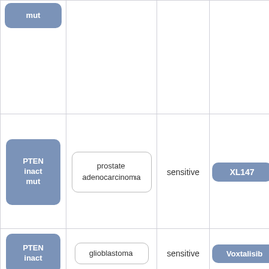| Biomarker | Cancer Type | Sensitivity | Drug |
| --- | --- | --- | --- |
| mut (partial) |  |  |  |
| PTEN inact mut | prostate adenocarcinoma | sensitive | XL147 |
| PTEN inact | glioblastoma | sensitive | Voxtalisib |